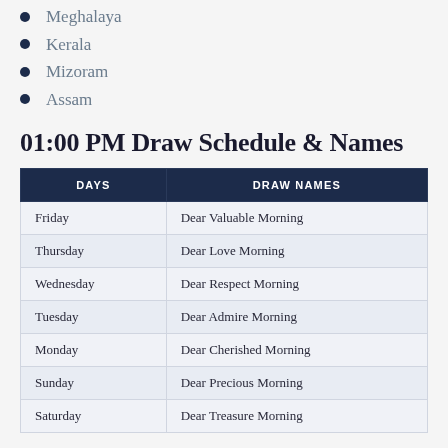Meghalaya
Kerala
Mizoram
Assam
01:00 PM Draw Schedule & Names
| DAYS | DRAW NAMES |
| --- | --- |
| Friday | Dear Valuable Morning |
| Thursday | Dear Love Morning |
| Wednesday | Dear Respect Morning |
| Tuesday | Dear Admire Morning |
| Monday | Dear Cherished Morning |
| Sunday | Dear Precious Morning |
| Saturday | Dear Treasure Morning |
04:00 PM Draw Schedule & Names